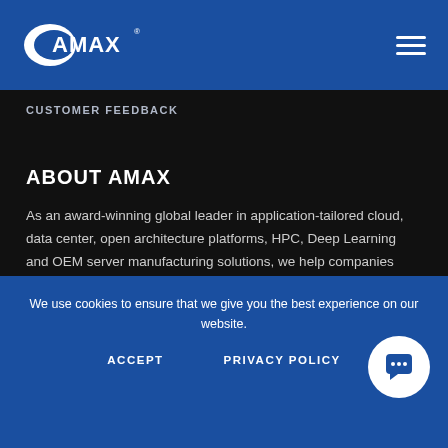[Figure (logo): AMAX company logo - white on blue background with swoosh]
CUSTOMER FEEDBACK
ABOUT AMAX
As an award-winning global leader in application-tailored cloud, data center, open architecture platforms, HPC, Deep Learning and OEM server manufacturing solutions, we help companies
We use cookies to ensure that we give you the best experience on our website.
ACCEPT
PRIVACY POLICY